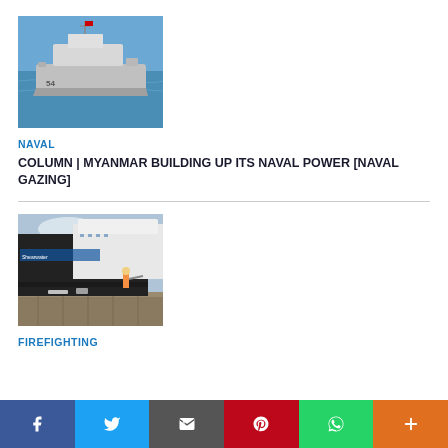[Figure (photo): A naval warship (patrol vessel) on blue ocean water]
NAVAL
COLUMN | MYANMAR BUILDING UP ITS NAVAL POWER [NAVAL GAZING]
[Figure (photo): A submarine or large vessel docked at port with firefighters on the dock]
FIREFIGHTING